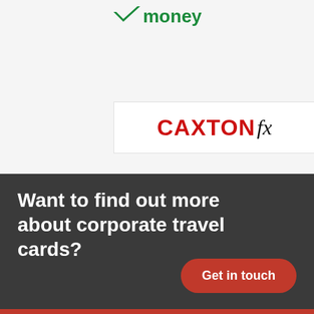[Figure (logo): Partial top logo showing a green checkmark and the word 'money' in green text]
[Figure (logo): Caxton FX logo: 'CAXTON' in bold red, 'fx' in black italic serif font, inside white bordered box]
[Figure (logo): Prepaid Financial Services logo: 'prepaid' in blue/red italic text with a geometric square graphic, 'FINANCIAL SERVICES' in small caps below, inside white bordered box]
Want to find out more about corporate travel cards?
Get in touch